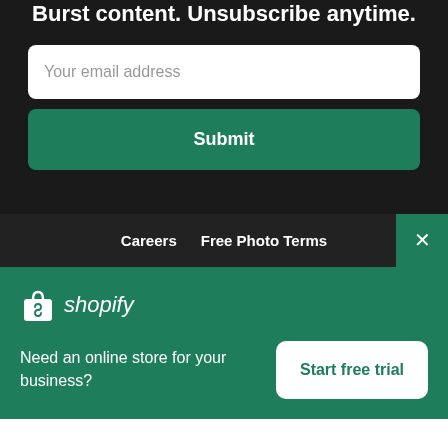Burst content. Unsubscribe anytime.
Your email address
Submit
Careers   Free Photo Terms
[Figure (logo): Shopify logo with shopping bag icon and italic wordmark 'shopify' in white on green background]
Need an online store for your business?
Start free trial